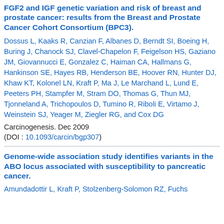FGF2 and IGF genetic variation and risk of breast and prostate cancer: results from the Breast and Prostate Cancer Cohort Consortium (BPC3).
Dossus L, Kaaks R, Canzian F, Albanes D, Berndt SI, Boeing H, Buring J, Chanock SJ, Clavel-Chapelon F, Feigelson HS, Gaziano JM, Giovannucci E, Gonzalez C, Haiman CA, Hallmans G, Hankinson SE, Hayes RB, Henderson BE, Hoover RN, Hunter DJ, Khaw KT, Kolonel LN, Kraft P, Ma J, Le Marchand L, Lund E, Peeters PH, Stampfer M, Stram DO, Thomas G, Thun MJ, Tjonneland A, Trichopoulos D, Tumino R, Riboli E, Virtamo J, Weinstein SJ, Yeager M, Ziegler RG, and Cox DG
Carcinogenesis. Dec 2009
(DOI : 10.1093/carcin/bgp307)
Genome-wide association study identifies variants in the ABO locus associated with susceptibility to pancreatic cancer.
Amundadottir L, Kraft P, Stolzenberg-Solomon RZ, Fuchs